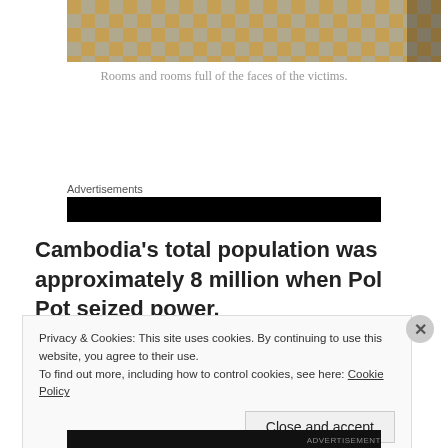[Figure (photo): Checkered floor with orange/tan and white/grey tiles, partial view of a room interior]
Rooms and rooms full of the faces of the victims.
Advertisements
Cambodia’s total population was approximately 8 million when Pol Pot seized power.
Privacy & Cookies: This site uses cookies. By continuing to use this website, you agree to their use.
To find out more, including how to control cookies, see here: Cookie Policy
Close and accept